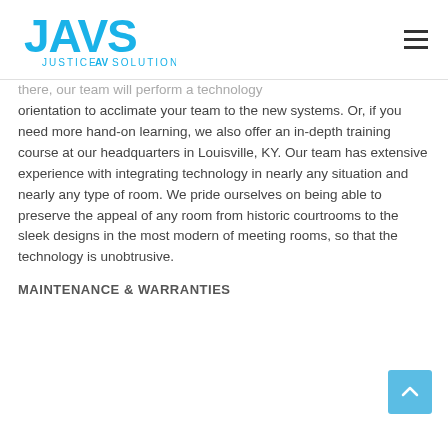[Figure (logo): JAVS Justice AV Solutions logo in blue]
there, our team will perform a technology orientation to acclimate your team to the new systems. Or, if you need more hand-on learning, we also offer an in-depth training course at our headquarters in Louisville, KY. Our team has extensive experience with integrating technology in nearly any situation and nearly any type of room. We pride ourselves on being able to preserve the appeal of any room from historic courtrooms to the sleek designs in the most modern of meeting rooms, so that the technology is unobtrusive.
MAINTENANCE & WARRANTIES